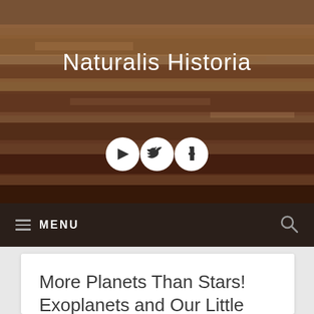Naturalis Historia
[Figure (photo): Canyon landscape banner image (Grand Canyon style layered rock formations with reddish-brown strata), with social media icons (YouTube, Twitter, Facebook) overlaid in white circles]
≡ MENU
More Planets Than Stars! Exoplanets and Our Little Blue Ball